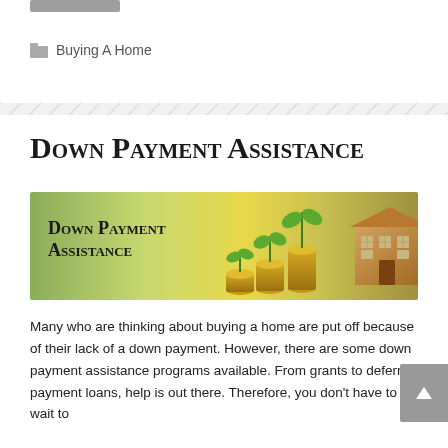Buying A Home
[Figure (illustration): Banner image showing stacks of gold coins with green plants growing out of them and a wooden house model on the right, with the text 'Down Payment Assistance' overlaid on the left side in a dark serif font against a blurred green background.]
Down Payment Assistance
Many who are thinking about buying a home are put off because of their lack of a down payment. However, there are some down payment assistance programs available. From grants to deferred payment loans, help is out there. Therefore, you don't have to wait to